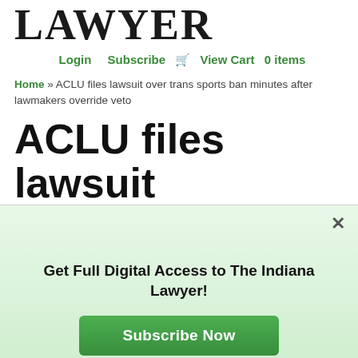LAWYER
Login  Subscribe  View Cart 0 items
Home » ACLU files lawsuit over trans sports ban minutes after lawmakers override veto
ACLU files lawsuit
Get Full Digital Access to The Indiana Lawyer!
Subscribe Now
Already a paid subscriber? Login here